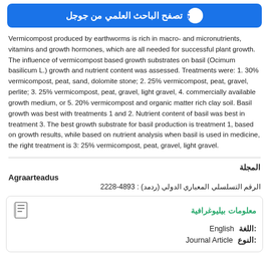[Figure (other): Google Scholar blue banner button with G logo and Arabic text: تصفح الباحث العلمي من جوجل]
Vermicompost produced by earthworms is rich in macro- and micronutrients, vitamins and growth hormones, which are all needed for successful plant growth. The influence of vermicompost based growth substrates on basil (Ocimum basilicum L.) growth and nutrient content was assessed. Treatments were: 1. 30% vermicompost, peat, sand, dolomite stone; 2. 25% vermicompost, peat, gravel, perlite; 3. 25% vermicompost, peat, gravel, light gravel, 4. commercially available growth medium, or 5. 20% vermicompost and organic matter rich clay soil. Basil growth was best with treatments 1 and 2. Nutrient content of basil was best in treatment 3. The best growth substrate for basil production is treatment 1, based on growth results, while based on nutrient analysis when basil is used in medicine, the right treatment is 3: 25% vermicompost, peat, gravel, light gravel.
المجلة
Agraarteadus
الرقم التسلسلي المعياري الدولي (ردمد) : 2228-4893
معلومات بيليوغرافية
اللغة: English
النوع: Journal Article